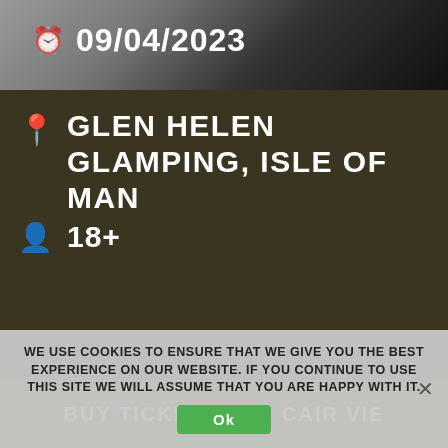[Figure (photo): Top photo strip showing a dark background image of a person]
🕐 09/04/2023
GLEN HELEN GLAMPING, ISLE OF MAN
18+
BUY TICKETS FOR CAIR VIE
WE USE COOKIES TO ENSURE THAT WE GIVE YOU THE BEST EXPERIENCE ON OUR WEBSITE. IF YOU CONTINUE TO USE THIS SITE WE WILL ASSUME THAT YOU ARE HAPPY WITH IT.
Ok